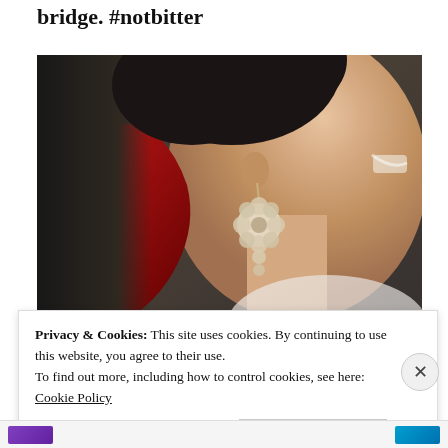bridge. #notbitter
[Figure (photo): Close-up photo of a woman smiling, wearing a decorative lace flower earring and a red jacket, with dark hair, photographed in shallow depth of field]
Privacy & Cookies: This site uses cookies. By continuing to use this website, you agree to their use.
To find out more, including how to control cookies, see here:
Cookie Policy
Close and accept